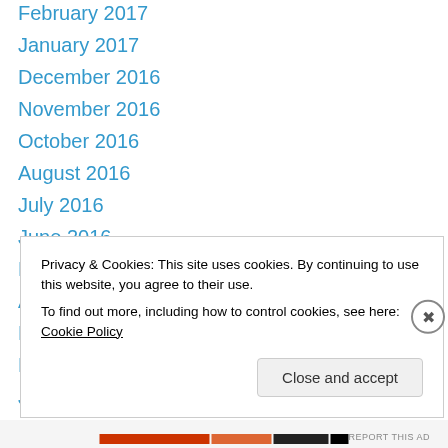February 2017
January 2017
December 2016
November 2016
October 2016
August 2016
July 2016
June 2016
May 2016
April 2016
March 2016
February 2016
January 2016
Privacy & Cookies: This site uses cookies. By continuing to use this website, you agree to their use. To find out more, including how to control cookies, see here: Cookie Policy
Close and accept